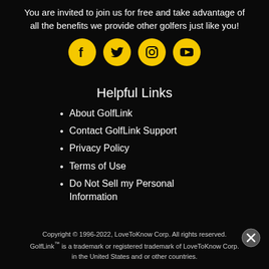You are invited to join us for free and take advantage of all the benefits we provide other golfers just like you!
[Figure (illustration): Four yellow circular social media icons: Facebook, Twitter, Instagram, YouTube]
Helpful Links
About GolfLink
Contact GolfLink Support
Privacy Policy
Terms of Use
Do Not Sell my Personal Information
Copyright © 1996-2022, LoveToKnow Corp. All rights reserved. GolfLink™ is a trademark or registered trademark of LoveToKnow Corp. in the United States and or other countries.